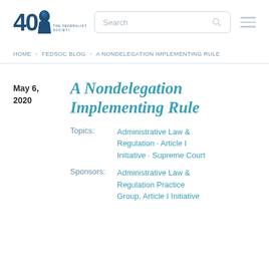[Figure (logo): Federalist Society 40th anniversary logo with silhouette and text]
Search
HOME › FEDSOC BLOG › A NONDELEGATION IMPLEMENTING RULE
May 6, 2020
A Nondelegation Implementing Rule
Topics: Administrative Law & Regulation · Article I Initiative · Supreme Court
Sponsors: Administrative Law & Regulation Practice Group, Article I Initiative